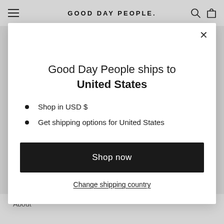GOOD DAY PEOPLE.
Good Day People ships to United States
Shop in USD $
Get shipping options for United States
Shop now
Change shipping country
About